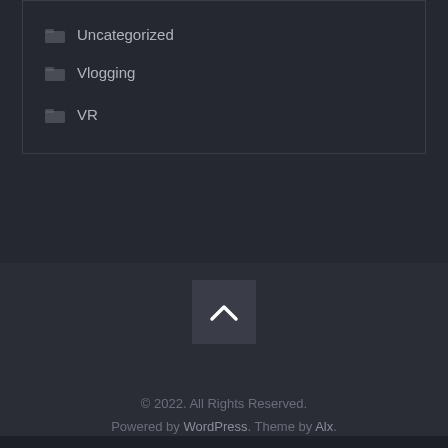Uncategorized
Vlogging
VR
[Figure (illustration): Back to top chevron button (upward caret icon) in a dark square button]
© 2022. All Rights Reserved. Powered by WordPress. Theme by Alx.